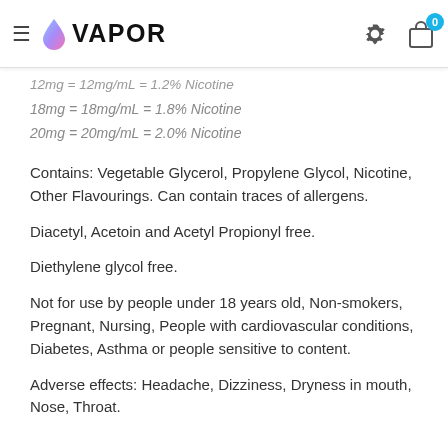VAPOR (navigation header with hamburger menu, logo, gear icon, and shopping bag with badge 0)
12mg = 12mg/mL = 1.2% Nicotine
18mg = 18mg/mL = 1.8% Nicotine
20mg = 20mg/mL = 2.0% Nicotine
Contains: Vegetable Glycerol, Propylene Glycol, Nicotine, Other Flavourings. Can contain traces of allergens.
Diacetyl, Acetoin and Acetyl Propionyl free.
Diethylene glycol free.
Not for use by people under 18 years old, Non-smokers, Pregnant, Nursing, People with cardiovascular conditions, Diabetes, Asthma or people sensitive to content.
Adverse effects: Headache, Dizziness, Dryness in mouth, Nose, Throat.